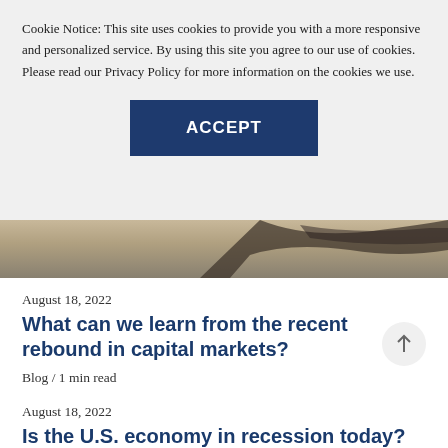Cookie Notice: This site uses cookies to provide you with a more responsive and personalized service. By using this site you agree to our use of cookies. Please read our Privacy Policy for more information on the cookies we use.
ACCEPT
[Figure (photo): Close-up photo of what appears to be glasses or a pen on a surface, partially visible as a dark strip]
August 18, 2022
What can we learn from the recent rebound in capital markets?
Blog / 1 min read
August 18, 2022
Is the U.S. economy in recession today?
Blog / 1 min read